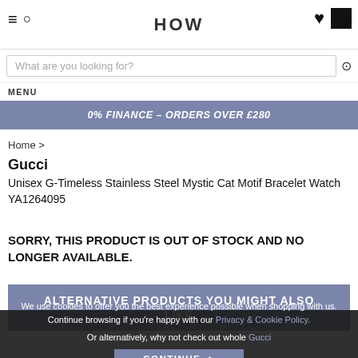HOW — navigation header with hamburger, search, logo, heart, and bag icons
What are you looking for?
MENU
0% FINANCE – ORDERS OVER £280
Home >
Gucci
Unisex G-Timeless Stainless Steel Mystic Cat Motif Bracelet Watch YA1264095
SORRY, THIS PRODUCT IS OUT OF STOCK AND NO LONGER AVAILABLE.
ALTERNATIVE PRODUCTS YOU MIGHT ALSO LIKE
We use cookies to offer you the best experience possible when shopping with us. Continue browsing if you're happy with our Privacy & Cookie Policy.
Or alternatively, why not check out whole Gucci
CONTINUE >